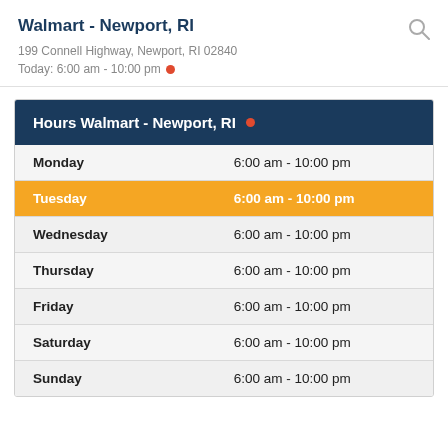Walmart - Newport, RI
199 Connell Highway, Newport, RI 02840
Today: 6:00 am - 10:00 pm
| Hours Walmart - Newport, RI |  |
| --- | --- |
| Monday | 6:00 am - 10:00 pm |
| Tuesday | 6:00 am - 10:00 pm |
| Wednesday | 6:00 am - 10:00 pm |
| Thursday | 6:00 am - 10:00 pm |
| Friday | 6:00 am - 10:00 pm |
| Saturday | 6:00 am - 10:00 pm |
| Sunday | 6:00 am - 10:00 pm |